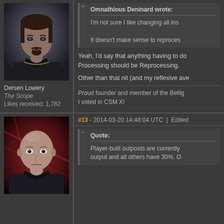[Figure (photo): Avatar portrait of Dersen Lowery, a digital character with dark hair and beard in sci-fi attire]
Dersen Lowery
The Scope
Likes received: 1,782
Omnathious Deninard wrote:
I'm not sure I like changing all ins
It doesn't make sense to reproces
Yeah, I'd say that anything having to do Processing should be Reprocessing.
Other than that nit (and my reflexive ave
Proud founder and member of the Bellig I voted in CSM X!
#13 - 2014-03-20 14:48:04 UTC  |  Edited
Quote:
Player-built outposts are currently output and all others have 30%. O
[Figure (photo): Avatar portrait of a bald character in sci-fi attire with dramatic red background]